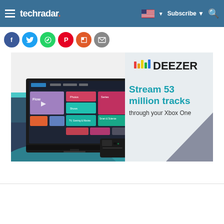techradar — Subscribe — Search
[Figure (screenshot): Social sharing icons row: Facebook (blue), Twitter (light blue), WhatsApp (green), Pinterest (red), Flipboard (orange-red), Email (gray)]
[Figure (infographic): Deezer advertisement showing a smart TV with Deezer app interface on screen displaying colorful tiles (Flow, Photos, Series, TV Series & Movies, Smart & Science), an Xbox One console and controller in the foreground, Deezer logo with colorful bar chart icon top right, text reading 'Stream 53 million tracks through your Xbox One']